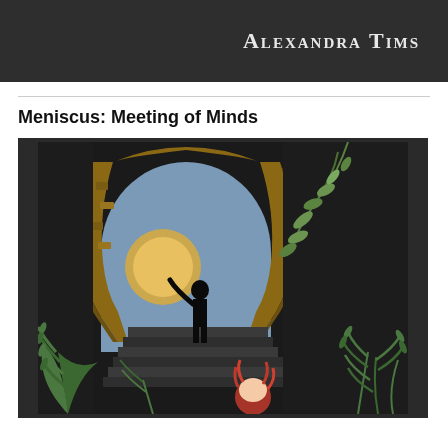Alexandra Tims
Meniscus: Meeting of Minds
[Figure (illustration): A painting depicting a dark scene with a cave or stone archway opening. A black silhouette of a person stands at the top of steps inside the arch, with one arm raised. A large yellowish circle (moon or sun) glows behind them against a blue-grey sky. Green ferns and leafy vines frame the scene in the foreground. At the bottom right, a figure with red/orange hair is partially visible.]